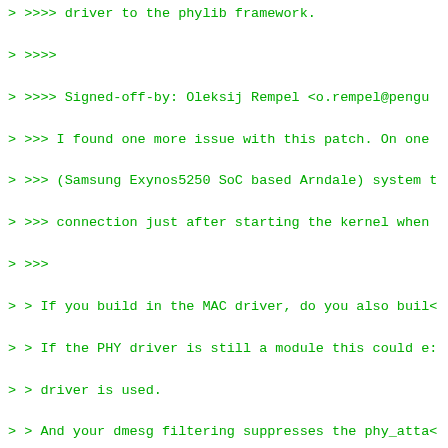> >>>> driver to the phylib framework.
>
> >>>> Signed-off-by: Oleksij Rempel <o.rempel@pengu
> >>> I found one more issue with this patch. On one
> >>> (Samsung Exynos5250 SoC based Arndale) system t
> >>> connection just after starting the kernel when
> >>>
> > If you build in the MAC driver, do you also build
> > If the PHY driver is still a module this could e:
> > driver is used.
> > And your dmesg filtering suppresses the phy_atta
> > that would tell us the truth.
>
> Here is a bit more complete log:
>
> # dmesg | grep -i Asix